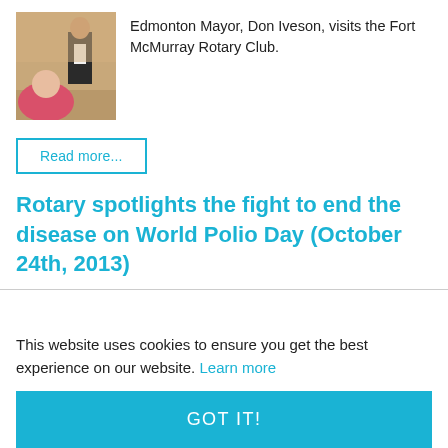[Figure (photo): Photo of Edmonton Mayor Don Iveson speaking at the Fort McMurray Rotary Club, with a woman in pink sitting in the foreground.]
Edmonton Mayor, Don Iveson, visits the Fort McMurray Rotary Club.
Read more...
Rotary spotlights the fight to end the disease on World Polio Day (October 24th, 2013)
This website uses cookies to ensure you get the best experience on our website. Learn more
GOT IT!